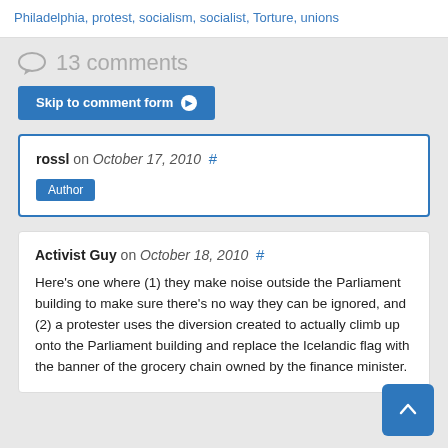Philadelphia, protest, socialism, socialist, Torture, unions
13 comments
Skip to comment form
rossl on October 17, 2010 #
Author
Activist Guy on October 18, 2010 #
Here's one where (1) they make noise outside the Parliament building to make sure there's no way they can be ignored, and (2) a protester uses the diversion created to actually climb up onto the Parliament building and replace the Icelandic flag with the banner of the grocery chain owned by the finance minister.